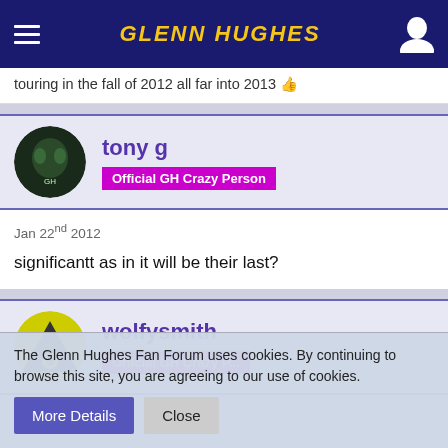GLENN HUGHES
touring in the fall of 2012 all far into 2013 👍
tony g
Official GH Crazy Person
Jan 22nd 2012
significantt as in it will be their last?
wolfysmith
Official GH Crazy P...
The Glenn Hughes Fan Forum uses cookies. By continuing to browse this site, you are agreeing to our use of cookies.